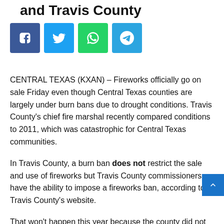and Travis County
[Figure (other): Social sharing buttons: Facebook (blue), Twitter (light blue), WhatsApp (green), Telegram (blue)]
CENTRAL TEXAS (KXAN) – Fireworks officially go on sale Friday even though Central Texas counties are largely under burn bans due to drought conditions. Travis County's chief fire marshal recently compared conditions to 2011, which was catastrophic for Central Texas communities.
In Travis County, a burn ban does not restrict the sale and use of fireworks but Travis County commissioners have the ability to impose a fireworks ban, according to Travis County's website.
That won't happen this year because the county did not hit the